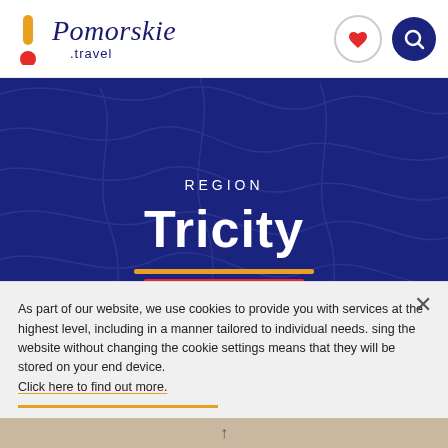[Figure (logo): Pomorskie.travel logo with orange exclamation mark and red dot, cursive text 'Pomorskie' and '.travel' label]
[Figure (illustration): Dark blue hero banner with abstract topographic line pattern background, text 'REGION' and 'Tricity' with yellow and red underlines, globe icon at bottom]
As part of our website, we use cookies to provide you with services at the highest level, including in a manner tailored to individual needs. sing the website without changing the cookie settings means that they will be stored on your end device. Click here to find out more.